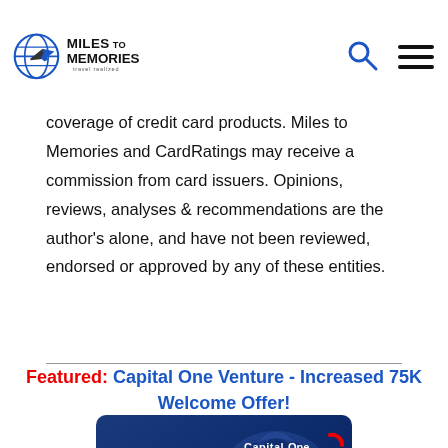Miles to Memories - Travel Realized
coverage of credit card products. Miles to Memories and CardRatings may receive a commission from card issuers. Opinions, reviews, analyses & recommendations are the author's alone, and have not been reviewed, endorsed or approved by any of these entities.
Featured: Capital One Venture - Increased 75K Welcome Offer!
[Figure (photo): Capital One Venture credit card - dark blue card with VENTURE text and Capital One logo, chip visible on left side]